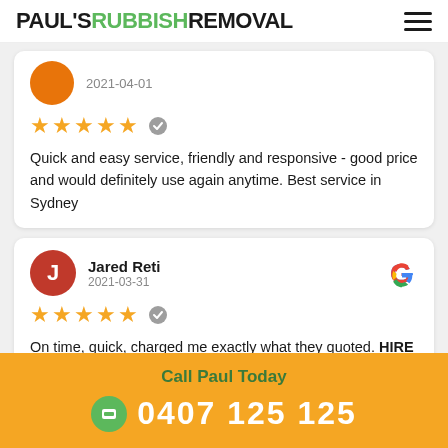[Figure (logo): Paul's Rubbish Removal logo with hamburger menu icon]
2021-04-01
★★★★★ (verified)
Quick and easy service, friendly and responsive - good price and would definitely use again anytime. Best service in Sydney
Jared Reti
2021-03-31
★★★★★ (verified)
On time, quick, charged me exactly what they quoted. HIRE THEM!!
Call Paul Today
0407 125 125